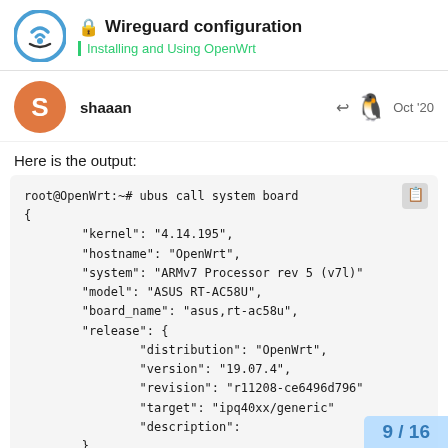Wireguard configuration | Installing and Using OpenWrt
shaaan  Oct '20
Here is the output:
root@OpenWrt:~# ubus call system board
{
        "kernel": "4.14.195",
        "hostname": "OpenWrt",
        "system": "ARMv7 Processor rev 5 (v7l)",
        "model": "ASUS RT-AC58U",
        "board_name": "asus,rt-ac58u",
        "release": {
                "distribution": "OpenWrt",
                "version": "19.07.4",
                "revision": "r11208-ce6496d796",
                "target": "ipq40xx/generic",
                "description":
        }
}
9 / 16